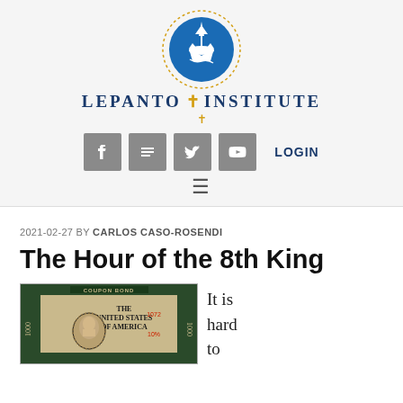[Figure (logo): Lepanto Institute logo: blue circle with sailing ship, dotted border, golden cross, text LEPANTO INSTITUTE in navy blue]
[Figure (other): Four grey social media icon buttons (Facebook, RSS, Twitter, YouTube) and a LOGIN link]
[Figure (other): Hamburger menu icon (three horizontal lines)]
2021-02-27 BY CARLOS CASO-ROSENDI
The Hour of the 8th King
[Figure (photo): Old US Treasury Coupon Bond for $1000, showing 'THE UNITED STATES OF AMERICA' text, serial number 1072, and a portrait medallion]
It is hard to